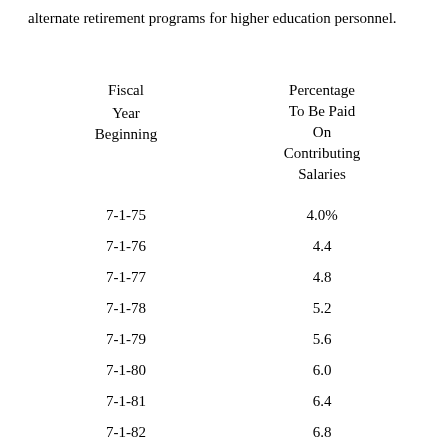alternate retirement programs for higher education personnel.
| Fiscal Year Beginning | Percentage To Be Paid On Contributing Salaries |
| --- | --- |
| 7-1-75 | 4.0% |
| 7-1-76 | 4.4 |
| 7-1-77 | 4.8 |
| 7-1-78 | 5.2 |
| 7-1-79 | 5.6 |
| 7-1-80 | 6.0 |
| 7-1-81 | 6.4 |
| 7-1-82 | 6.8 |
| 7-1-83 | 7.2 |
| 7-1-84 | 7.6 |